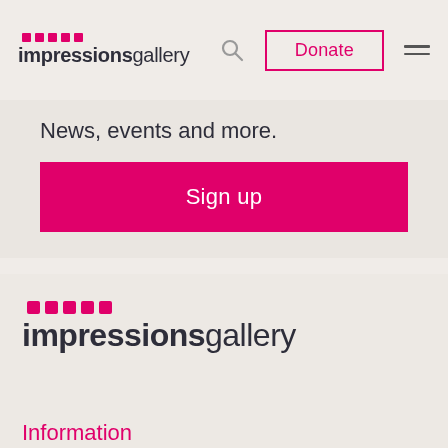impressionsgallery — Donate — navigation menu
News, events and more.
Sign up
[Figure (logo): Impressions Gallery logo with pink dots and wordmark in footer]
Information